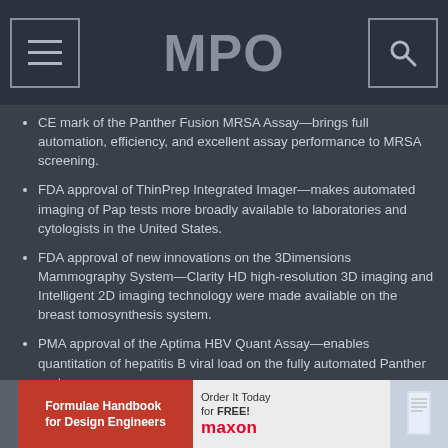MPO
CE mark of the Panther Fusion MRSA Assay—brings full automation, efficiency, and excellent assay performance to MRSA screening.
FDA approval of ThinPrep Integrated Imager—makes automated imaging of Pap tests more broadly available to laboratories and cytologists in the United States.
FDA approval of new innovations on the 3Dimensions Mammography System—Clarity HD high-resolution 3D imaging and Intelligent 2D imaging technology were made available on the breast tomosynthesis system.
PMA approval of the Aptima HBV Quant Assay—enables quantitation of hepatitis B viral load on the fully automated Panther system.
[Figure (photo): Advertisement banner for Formulae Handbook for Design Engineers by Maxon, with red left panel and light right panel showing 'Order It Today for FREE!' text.]